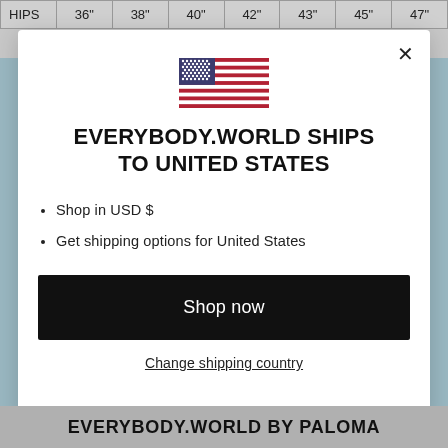| HIPS | 36" | 38" | 40" | 42" | 43" | 45" | 47" |
| --- | --- | --- | --- | --- | --- | --- | --- |
[Figure (screenshot): Modal dialog with US flag, shipping notice for everybody.world, bullet points, shop now button, and change shipping country link]
EVERYBODY.WORLD BY PALOMA